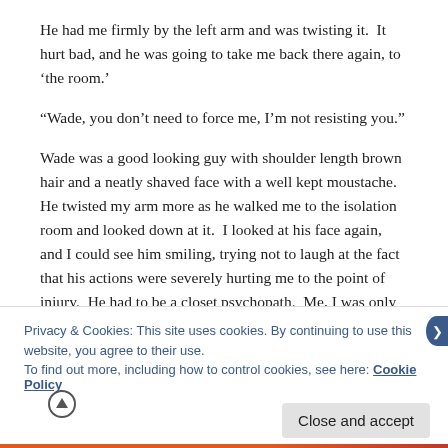He had me firmly by the left arm and was twisting it.  It hurt bad, and he was going to take me back there again, to ‘the room.’
“Wade, you don’t need to force me, I’m not resisting you.”
Wade was a good looking guy with shoulder length brown hair and a neatly shaved face with a well kept moustache.  He twisted my arm more as he walked me to the isolation room and looked down at it.  I looked at his face again, and I could see him smiling, trying not to laugh at the fact that his actions were severely hurting me to the point of injury.  He had to be a closet psychopath.  Me, I was only psychotic.
Privacy & Cookies: This site uses cookies. By continuing to use this website, you agree to their use.
To find out more, including how to control cookies, see here: Cookie Policy
Close and accept